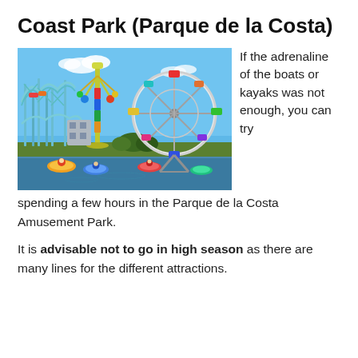Coast Park (Parque de la Costa)
[Figure (photo): Amusement park with roller coasters, a tall swing ride, a large colorful Ferris wheel, and bumper boats on water, under a bright blue sky.]
If the adrenaline of the boats or kayaks was not enough, you can try spending a few hours in the Parque de la Costa Amusement Park.
It is advisable not to go in high season as there are many lines for the different attractions.